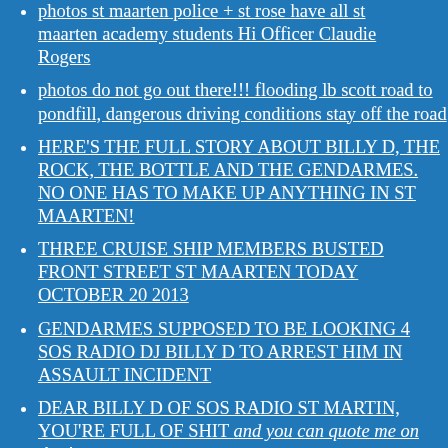photos st maarten police + st rose have all st maarten academy students Hi Officer Claudie Rogers
photos do not go out there!!! flooding lb scott road to pondfill, dangerous driving conditions stay off the road
HERE'S THE FULL STORY ABOUT BILLY D, THE ROCK, THE BOTTLE AND THE GENDARMES. NO ONE HAS TO MAKE UP ANYTHING IN ST MAARTEN!
THREE CRUISE SHIP MEMBERS BUSTED FRONT STREET ST MAARTEN TODAY OCTOBER 20 2013
GENDARMES SUPPOSED TO BE LOOKING 4 SOS RADIO DJ BILLY D TO ARREST HIM IN ASSAULT INCIDENT
DEAR BILLY D OF SOS RADIO ST MARTIN, YOU'RE FULL OF SHIT and you can quote me on that!
DEAR BILLY D OF SOS RADIO ST MARTIN, YOU'RE FULL OF SHIT and you can quote me on that!